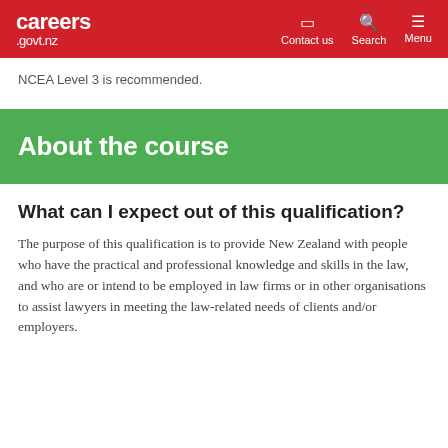careers .govt.nz — Contact us | Search | Menu
NCEA Level 3 is recommended.
About the course
What can I expect out of this qualification?
The purpose of this qualification is to provide New Zealand with people who have the practical and professional knowledge and skills in the law, and who are or intend to be employed in law firms or in other organisations to assist lawyers in meeting the law-related needs of clients and/or employers.